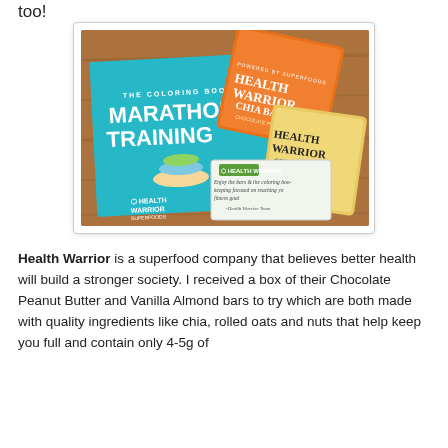too!
[Figure (photo): Photo of a Marathon Training coloring book and Health Warrior Chia Bars (Chocolate Peanut Butter and another flavor) laid out on a wooden surface, along with a handwritten note card with Health Warrior branding.]
Health Warrior is a superfood company that believes better health will build a stronger society. I received a box of their Chocolate Peanut Butter and Vanilla Almond bars to try which are both made with quality ingredients like chia, rolled oats and nuts that help keep you full and contain only 4-5g of